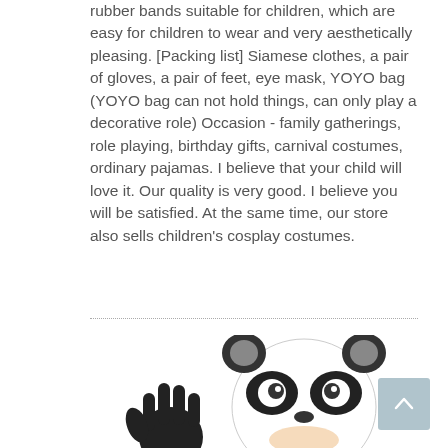rubber bands suitable for children, which are easy for children to wear and very aesthetically pleasing. [Packing list] Siamese clothes, a pair of gloves, a pair of feet, eye mask, YOYO bag (YOYO bag can not hold things, can only play a decorative role) Occasion - family gatherings, role playing, birthday gifts, carnival costumes, ordinary pajamas. I believe that your child will love it. Our quality is very good. I believe you will be satisfied. At the same time, our store also sells children's cosplay costumes.
[Figure (photo): Child wearing a panda costume with large white panda head/hood with black eye patches and ears, wearing black gloves. The child is waving one hand.]